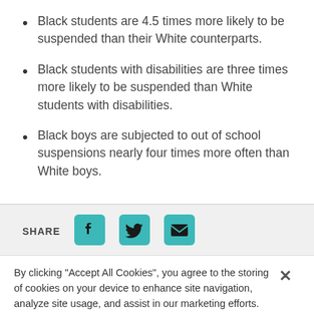Black students are 4.5 times more likely to be suspended than their White counterparts.
Black students with disabilities are three times more likely to be suspended than White students with disabilities.
Black boys are subjected to out of school suspensions nearly four times more often than White boys.
SHARE
By clicking “Accept All Cookies”, you agree to the storing of cookies on your device to enhance site navigation, analyze site usage, and assist in our marketing efforts.